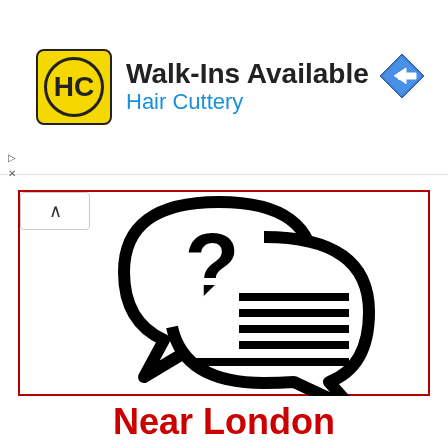[Figure (infographic): Hair Cuttery advertisement banner with yellow HC logo, text 'Walk-Ins Available' and 'Hair Cuttery' in blue, and a navigation/directions diamond icon on the right]
[Figure (illustration): Two overlapping speech bubbles icon: left bubble contains a question mark, right bubble contains horizontal lines representing text]
Check the questions of our users and the answers of our experts.
Near London